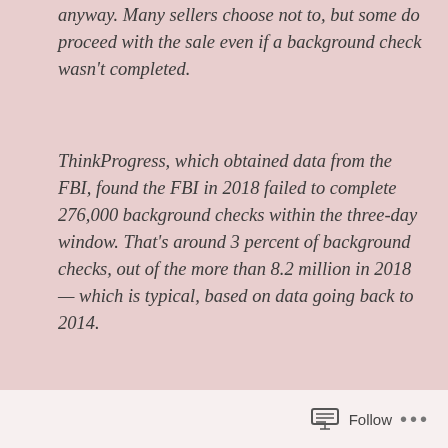anyway. Many sellers choose not to, but some do proceed with the sale even if a background check wasn't completed.
ThinkProgress, which obtained data from the FBI, found the FBI in 2018 failed to complete 276,000 background checks within the three-day window. That's around 3 percent of background checks, out of the more than 8.2 million in 2018 — which is typical, based on data going back to 2014.
The loophole allowed a self-described white supremacist to obtain the gun he used to kill nine people at a predominantly black church in Charleston, South Carolina, in 2015. He had admitted to drug possession prior to the gun purchase, which should have prohibited him from buying a gun — but the FBI couldn't complete his background check in time, and the seller allowed him to buy a gun anyway.
Follow